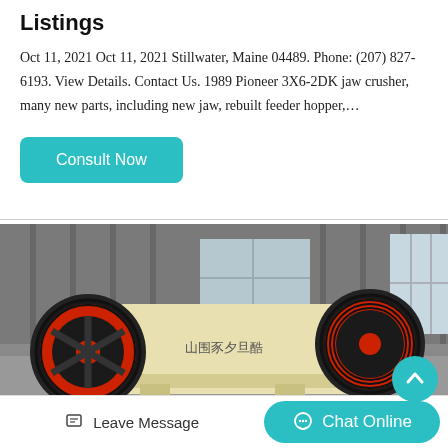Listings
Oct 11, 2021 Oct 11, 2021 Stillwater, Maine 04489. Phone: (207) 827-6193. View Details. Contact Us. 1989 Pioneer 3X6-2DK jaw crusher, many new parts, including new jaw, rebuilt feeder hopper,…
Consult Now
[Figure (photo): Industrial jaw crusher machine with large black and red flywheels on both sides, cream/yellow colored body with Chinese text label, displayed in a factory warehouse setting]
Leave Message
Chat Online